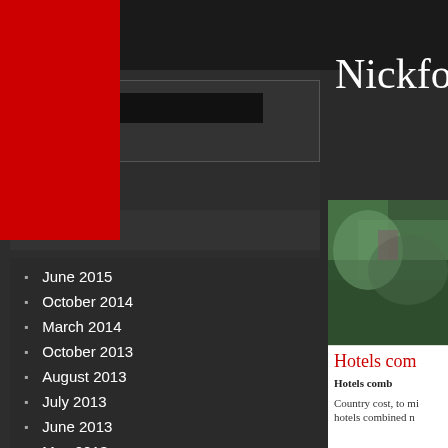[Figure (screenshot): Website screenshot showing a dark-themed blog sidebar with search box and archives list on the left, and a red-header site banner with 'Nickfo...' title on the right]
Archives
June 2015
October 2014
March 2014
October 2013
August 2013
July 2013
June 2013
May 2013
April 2013
March 2013
February 2013
January 2013
December 2012
November 2012
Nickfo
Home    Communi
Hotels com
Hotels comb
Country cost, to mi hotels combined n